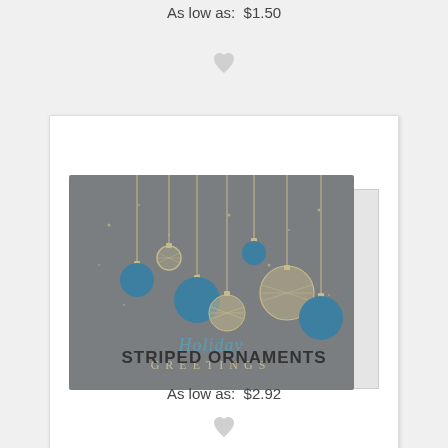As low as:  $1.50
[Figure (illustration): Holiday greeting card product image showing a gray card with hanging teal and gold ornament balls and the text 'Holiday GREETINGS' on the card front.]
STRIPED ORNAMENTS
As low as:  $2.92